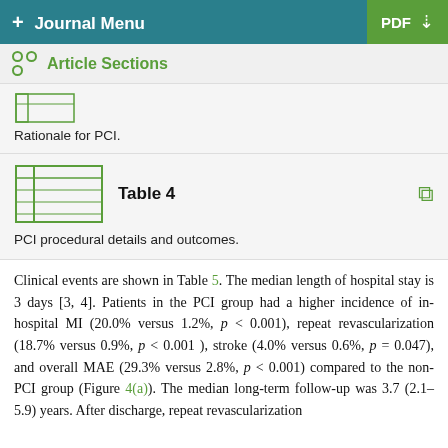+ Journal Menu   PDF ↓
Article Sections
Rationale for PCI.
Table 4
PCI procedural details and outcomes.
Clinical events are shown in Table 5. The median length of hospital stay is 3 days [3, 4]. Patients in the PCI group had a higher incidence of in-hospital MI (20.0% versus 1.2%, p < 0.001), repeat revascularization (18.7% versus 0.9%, p < 0.001), stroke (4.0% versus 0.6%, p = 0.047), and overall MAE (29.3% versus 2.8%, p < 0.001) compared to the non-PCI group (Figure 4(a)). The median long-term follow-up was 3.7 (2.1–5.9) years. After discharge, repeat revascularization